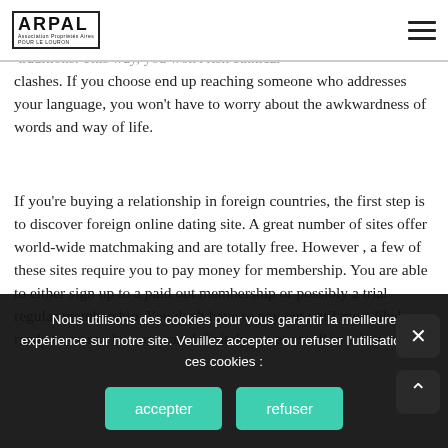ARPAL - Association Propriétaires Aires Pour Le Louron
you may meet gorgeous women who speak your language. You can exchange mail messages with these women, and learn about their traditions. This way, you won't risk ethnical clashes. If you choose end up reaching someone who addresses your language, you won't have to worry about the awkwardness of words and way of life.
If you're buying a relationship in foreign countries, the first step is to discover foreign online dating site. A great number of sites offer world-wide matchmaking and are totally free. However , a few of these sites require you to pay money for membership. You are able to either sign up to a paid out membership or possibly a trial regular membership. You don't have to pay out until most likely ready to marry, but you can definitely opt to enroll in a free trial.
Nous utilisons des cookies pour vous garantir la meilleure expérience sur notre site. Veuillez accepter ou refuser l'utilisation de ces cookies :